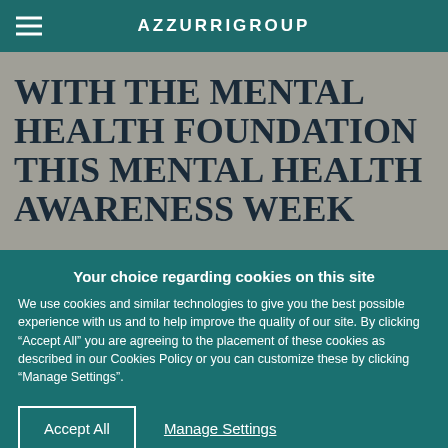AZZURRIGROUP
WITH THE MENTAL HEALTH FOUNDATION THIS MENTAL HEALTH AWARENESS WEEK
Your choice regarding cookies on this site
We use cookies and similar technologies to give you the best possible experience with us and to help improve the quality of our site. By clicking “Accept All” you are agreeing to the placement of these cookies as described in our Cookies Policy or you can customize these by clicking “Manage Settings”.
Accept All
Manage Settings